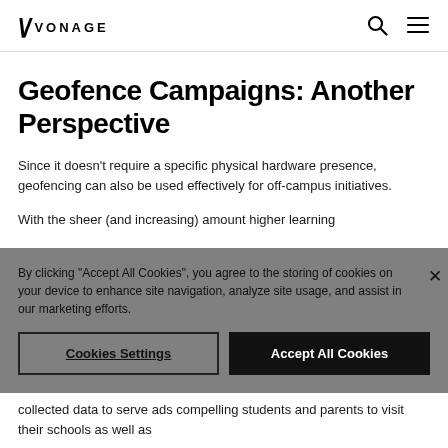VONAGE
Geofence Campaigns: Another Perspective
Since it doesn't require a specific physical hardware presence, geofencing can also be used effectively for off-campus initiatives.
With the sheer (and increasing) amount higher learning
By clicking "Accept All Cookies", you agree to the storing of cookies on your device to enhance site navigation, analyze site usage, and assist in our marketing efforts.
collected data to serve ads compelling students and parents to visit their schools as well as...